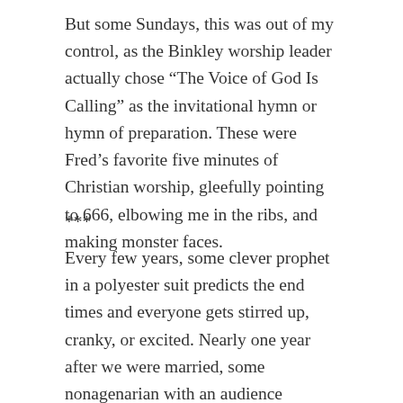But some Sundays, this was out of my control, as the Binkley worship leader actually chose “The Voice of God Is Calling” as the invitational hymn or hymn of preparation. These were Fred’s favorite five minutes of Christian worship, gleefully pointing to 666, elbowing me in the ribs, and making monster faces.
***
Every few years, some clever prophet in a polyester suit predicts the end times and everyone gets stirred up, cranky, or excited. Nearly one year after we were married, some nonagenarian with an audience decided the precise date Jesus was going to come down from heaven, and he offered warnings of soul preparation. Fred loves it when these occasions arise